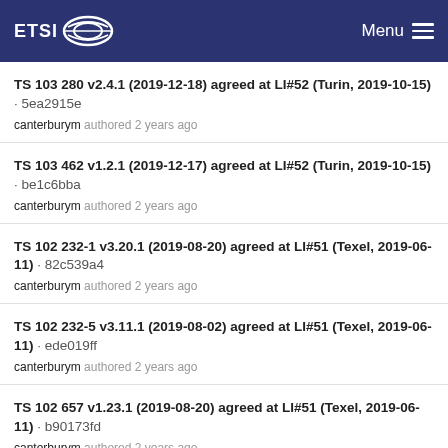ETSI Menu
TS 103 280 v2.4.1 (2019-12-18) agreed at LI#52 (Turin, 2019-10-15) · 5ea2915e
canterbурym authored 2 years ago
TS 103 462 v1.2.1 (2019-12-17) agreed at LI#52 (Turin, 2019-10-15) · be1c6bba
canterburym authored 2 years ago
TS 102 232-1 v3.20.1 (2019-08-20) agreed at LI#51 (Texel, 2019-06-11) · 82c539a4
canterburym authored 2 years ago
TS 102 232-5 v3.11.1 (2019-08-02) agreed at LI#51 (Texel, 2019-06-11) · ede019ff
canterburym authored 2 years ago
TS 102 657 v1.23.1 (2019-08-20) agreed at LI#51 (Texel, 2019-06-11) · b90173fd
canterburym authored 2 years ago